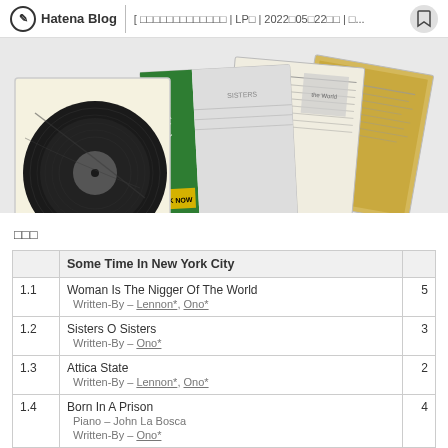Hatena Blog | [ □□□□□□□□□□□□□□□ | LP□ | 2022□05□22□□ | □...
[Figure (photo): Vinyl LP record covers fanned out: a black vinyl record disc on the left, a Japanese edition of 'Some Time In New York City' with green obi strip in the center, and two other album inner sleeves with printed text on cream/yellow paper to the right]
□□□
|  | Some Time In New York City |  |
| --- | --- | --- |
| 1.1 | Woman Is The Nigger Of The World
   Written-By – Lennon*, Ono* | 5 |
| 1.2 | Sisters O Sisters
   Written-By – Ono* | 3 |
| 1.3 | Attica State
   Written-By – Lennon*, Ono* | 2 |
| 1.4 | Born In A Prison
   Piano – John La Bosca
   Written-By – Ono* | 4 |